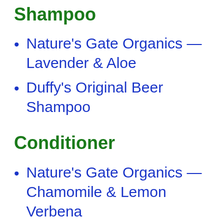Shampoo
Nature's Gate Organics — Lavender & Aloe
Duffy's Original Beer Shampoo
Conditioner
Nature's Gate Organics — Chamomile & Lemon Verbena
Nature's Gate Organics — Lemongrass & Clary Sage